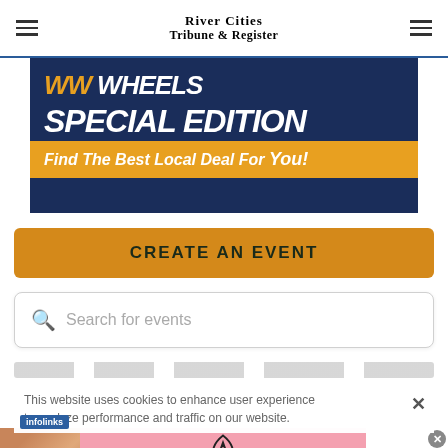River Cities Tribune & Register
[Figure (advertisement): WW Wheels Special Edition automotive ad banner with gold and dark blue colors. Text reads 'WW WHEELS SPECIAL EDITION' and 'Find The Best Local Deal For You!']
CREATE AN EVENT
Search for events
This website uses cookies to enhance user experience to analyze performance and traffic on our website.
[Figure (advertisement): Victoria's Secret advertisement with pink background, model photo, Victoria's Secret logo, text 'SHOP THE COLLECTION' and 'SHOP NOW' button]